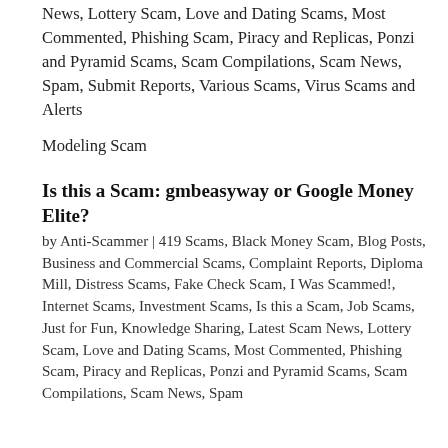News, Lottery Scam, Love and Dating Scams, Most Commented, Phishing Scam, Piracy and Replicas, Ponzi and Pyramid Scams, Scam Compilations, Scam News, Spam, Submit Reports, Various Scams, Virus Scams and Alerts
Modeling Scam
Is this a Scam: gmbeasyway or Google Money Elite?
by Anti-Scammer | 419 Scams, Black Money Scam, Blog Posts, Business and Commercial Scams, Complaint Reports, Diploma Mill, Distress Scams, Fake Check Scam, I Was Scammed!, Internet Scams, Investment Scams, Is this a Scam, Job Scams, Just for Fun, Knowledge Sharing, Latest Scam News, Lottery Scam, Love and Dating Scams, Most Commented, Phishing Scam, Piracy and Replicas, Ponzi and Pyramid Scams, Scam Compilations, Scam News, Spam